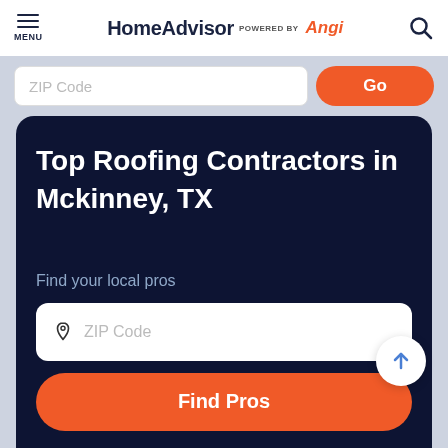MENU | HomeAdvisor POWERED BY Angi
ZIP Code
Go
Top Roofing Contractors in Mckinney, TX
Find your local pros
ZIP Code
Find Pros